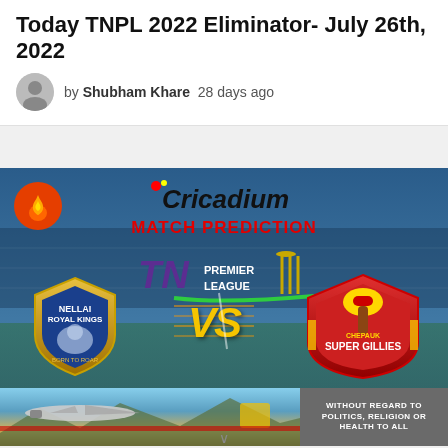Today TNPL 2022 Eliminator- July 26th, 2022
by Shubham Khare  28 days ago
[Figure (illustration): Match prediction banner for TNPL 2022 Eliminator showing Cricadium logo, TN Premier League logo, Nellai Royal Kings vs Chepauk Super Gillies team logos with VS text on stadium background, with fire badge icon top left]
[Figure (photo): Advertisement banner showing airplane/cargo image on left and text WITHOUT REGARD TO POLITICS, RELIGION OR HEALTH TO ALL on dark grey right side]